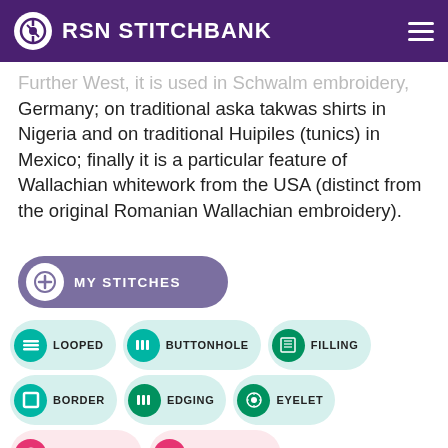RSN STITCHBANK
Further West, it is used in Schwalm embroidery, Germany; on traditional aska takwas shirts in Nigeria and on traditional Huipiles (tunics) in Mexico; finally it is a particular feature of Wallachian whitework from the USA (distinct from the original Romanian Wallachian embroidery).
[Figure (other): MY STITCHES button with plus icon]
[Figure (other): Tag pills: LOOPED, BUTTONHOLE, FILLING, BORDER, EDGING, EYELET, WHITEWORK, HARDANGER, CREWELWORK, SURFACE, STUMPWORK, APPLIQUE, BASIC, MOUNTMELLICK]